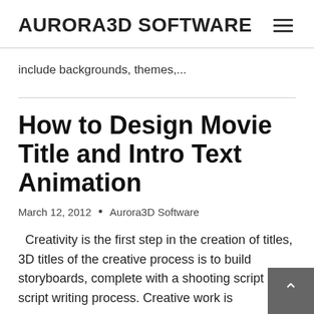AURORA3D SOFTWARE
include backgrounds, themes,...
How to Design Movie Title and Intro Text Animation
March 12, 2012  •  Aurora3D Software
Creativity is the first step in the creation of titles, 3D titles of the creative process is to build storyboards, complete with a shooting script script writing process. Creative work is